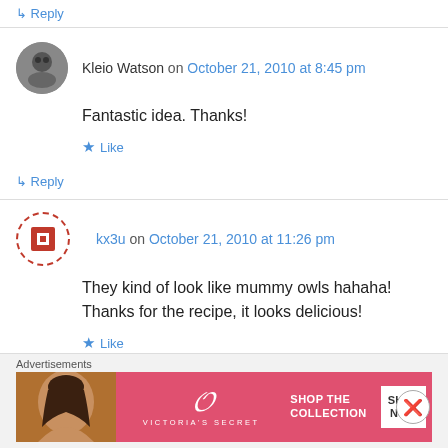↳ Reply
Kleio Watson on October 21, 2010 at 8:45 pm
Fantastic idea. Thanks!
★ Like
↳ Reply
kx3u on October 21, 2010 at 11:26 pm
They kind of look like mummy owls hahaha! Thanks for the recipe, it looks delicious!
★ Like
Advertisements
[Figure (screenshot): Victoria's Secret advertisement banner with model photo, VS logo, 'SHOP THE COLLECTION' text, and 'SHOP NOW' button]